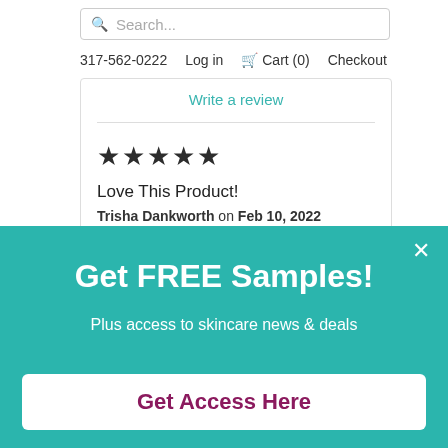[Figure (screenshot): Search bar with magnifying glass icon and placeholder text 'Search...']
317-562-0222   Log in   Cart (0)   Checkout
Write a review
★★★★★
Love This Product!
Trisha Dankworth on Feb 10, 2022
Get FREE Samples!
Plus access to skincare news & deals
Get Access Here